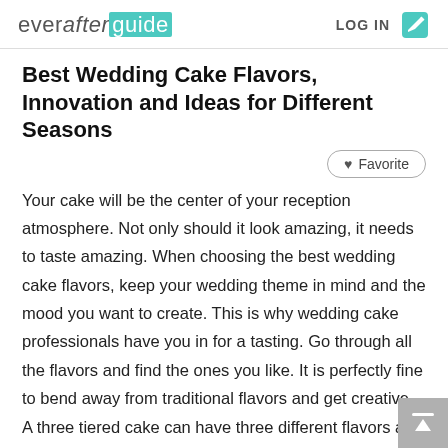everafterguide  LOG IN
Best Wedding Cake Flavors, Innovation and Ideas for Different Seasons
Favorite
Your cake will be the center of your reception atmosphere. Not only should it look amazing, it needs to taste amazing. When choosing the best wedding cake flavors, keep your wedding theme in mind and the mood you want to create. This is why wedding cake professionals have you in for a tasting. Go through all the flavors and find the ones you like. It is perfectly fine to bend away from traditional flavors and get creative. A three tiered cake can have three different flavors and you can add inventive fillings too. This article explores a few of the more exotic flavors and great ideas for incorporating them into your cake.